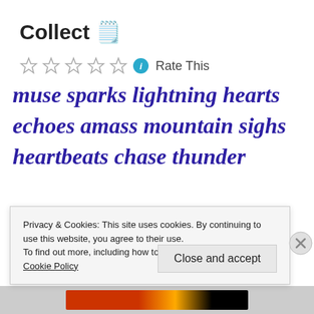Collect 🗒️
Rate This
muse sparks lightning hearts
echoes amass mountain sighs
heartbeats chase thunder
Privacy & Cookies: This site uses cookies. By continuing to use this website, you agree to their use.
To find out more, including how to control cookies, see here:
Cookie Policy
Close and accept